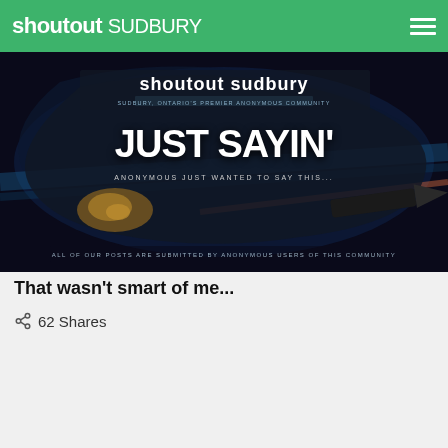shoutout SUDBURY
[Figure (illustration): Shoutout Sudbury banner image with 'JUST SAYIN' text on a dark background with space/cosmic imagery, subtitle 'ANONYMOUS JUST WANTED TO SAY THIS...' and footer 'ALL OF OUR POSTS ARE SUBMITTED BY ANONYMOUS USERS OF THIS COMMUNITY'. Top shows 'shoutout sudbury - SUDBURY, ONTARIO'S PREMIER ANONYMOUS COMMUNITY']
That wasn't smart of me...
62 Shares